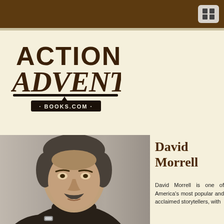Navigation bar with menu icon
[Figure (logo): Action Adventure Books.com logo — large brushstroke lettering 'ACTION ADVENTURE' in dark brown with '-BOOKS.COM-' below on a black banner strip]
[Figure (photo): Portrait photo of David Morrell, a middle-aged man with dark hair going grey, a dark mustache, wearing a dark turtleneck sweater, arms crossed, smiling slightly, gray background]
David Morrell
David Morrell is one of America's most popular and acclaimed storytellers, with